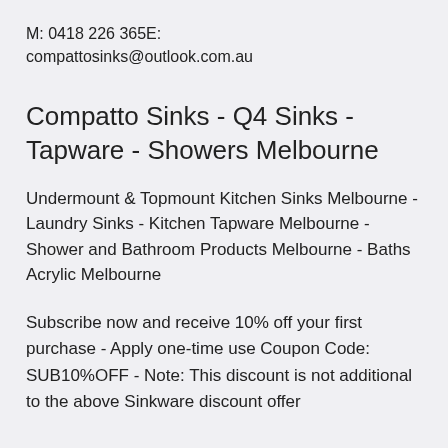M: 0418 226 365E:
compattosinks@outlook.com.au
Compatto Sinks - Q4 Sinks - Tapware - Showers Melbourne
Undermount & Topmount Kitchen Sinks Melbourne - Laundry Sinks - Kitchen Tapware Melbourne - Shower and Bathroom Products Melbourne - Baths Acrylic Melbourne
Subscribe now and receive 10% off your first purchase - Apply one-time use Coupon Code: SUB10%OFF - Note: This discount is not additional to the above Sinkware discount offer